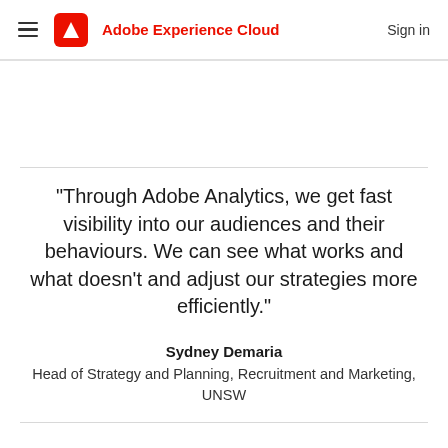Adobe Experience Cloud | Sign in
“Through Adobe Analytics, we get fast visibility into our audiences and their behaviours. We can see what works and what doesn’t and adjust our strategies more efficiently.”
Sydney Demaria
Head of Strategy and Planning, Recruitment and Marketing, UNSW